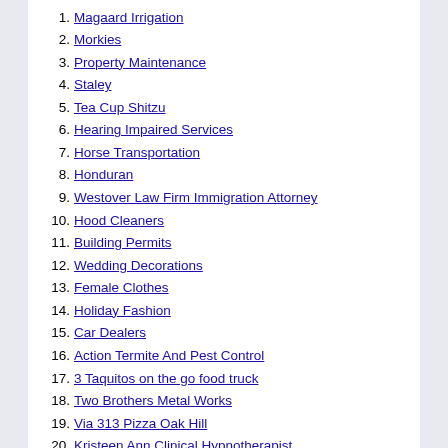1. Magaard Irrigation
2. Morkies
3. Property Maintenance
4. Staley
5. Tea Cup Shitzu
6. Hearing Impaired Services
7. Horse Transportation
8. Honduran
9. Westover Law Firm Immigration Attorney
10. Hood Cleaners
11. Building Permits
12. Wedding Decorations
13. Female Clothes
14. Holiday Fashion
15. Car Dealers
16. Action Termite And Pest Control
17. 3 Taquitos on the go food truck
18. Two Brothers Metal Works
19. Via 313 Pizza Oak Hill
20. Kristeen Ann Clinical Hypnotherapist